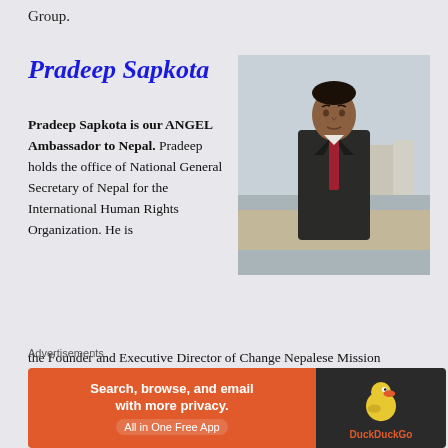Group.
Pradeep Sapkota
[Figure (photo): Portrait photo of Pradeep Sapkota, a man in a dark suit with a red tie, standing outdoors near a body of water with buildings in the background.]
Pradeep Sapkota is our ANGEL Ambassador to Nepal. Pradeep holds the office of National General Secretary of Nepal for the International Human Rights Organization. He is the Founder and Executive Director of Change Nepalese Mission (NGO) for Women Empowerment and also supports and serves on several NGO's as the Country Director or Country Representative. He holds a Masters in Business
Advertisements
[Figure (screenshot): DuckDuckGo advertisement banner: 'Search, browse, and email with more privacy. All in One Free App' with DuckDuckGo logo on dark background.]